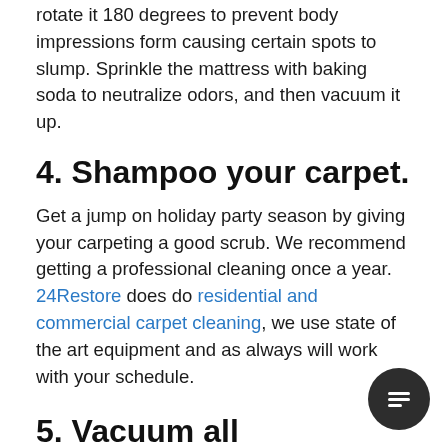rotate it 180 degrees to prevent body impressions form causing certain spots to slump. Sprinkle the mattress with baking soda to neutralize odors, and then vacuum it up.
4. Shampoo your carpet.
Get a jump on holiday party season by giving your carpeting a good scrub. We recommend getting a professional cleaning once a year. 24Restore does do residential and commercial carpet cleaning, we use state of the art equipment and as always will work with your schedule.
5. Vacuum all upholstered surfaces.
You think your couch is clean until you plop on it, and a